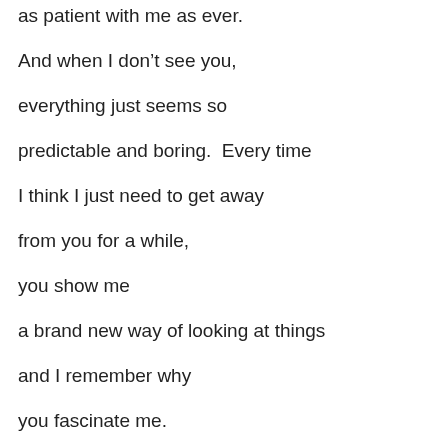as patient with me as ever.
And when I don’t see you,
everything just seems so
predictable and boring.  Every time
I think I just need to get away
from you for a while,
you show me
a brand new way of looking at things
and I remember why
you fascinate me.
You’ve always been there